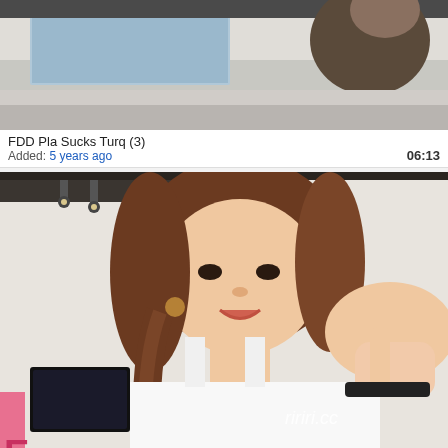[Figure (screenshot): Video thumbnail showing partial view of a video, indoor setting with people]
FDD Pla Sucks Turq (3)
Added: 5 years ago
06:13
[Figure (screenshot): Video thumbnail of a young woman with braided hair in a white top, pointing at camera, with watermark ririri.cc and 'yg' text, indoor setting]
SWAGRfunnyg..
Added: 1 month ago
18:44